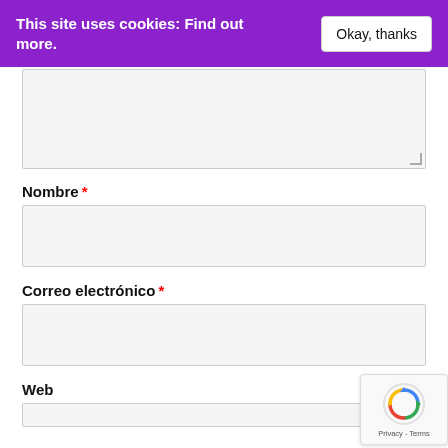This site uses cookies: Find out more. | Okay, thanks
[Figure (screenshot): Large textarea input field with light gray background and resize handle at bottom-right]
Nombre *
[Figure (screenshot): Single-line text input field for Nombre (Name) with light gray background]
Correo electrónico *
[Figure (screenshot): Single-line text input field for Correo electrónico (Email) with light gray background]
Web
[Figure (screenshot): reCAPTCHA badge with circular arrow icon and Privacy - Terms text]